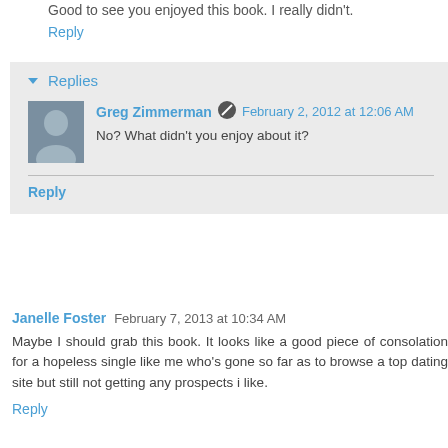Good to see you enjoyed this book. I really didn't.
Reply
Replies
Greg Zimmerman  February 2, 2012 at 12:06 AM
No? What didn't you enjoy about it?
Reply
Janelle Foster  February 7, 2013 at 10:34 AM
Maybe I should grab this book. It looks like a good piece of consolation for a hopeless single like me who's gone so far as to browse a top dating site but still not getting any prospects i like.
Reply